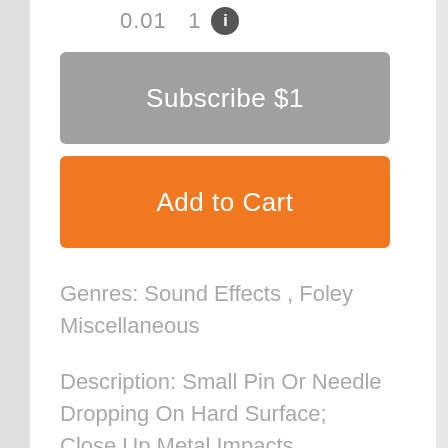0.01  1  ℹ
Subscribe $1
Add to Cart
Genres: Sound Effects , Foley Miscellaneous
Description: Small Pin Or Needle Dropping On Hard Surface; Close Up Metal Impacts